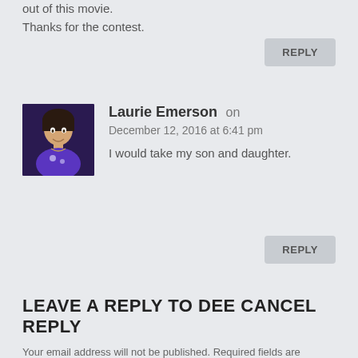out of this movie.
Thanks for the contest.
REPLY
[Figure (photo): Profile photo of Laurie Emerson - a woman wearing a purple t-shirt]
Laurie Emerson on December 12, 2016 at 6:41 pm
I would take my son and daughter.
REPLY
LEAVE A REPLY TO DEE CANCEL REPLY
Your email address will not be published. Required fields are marked *